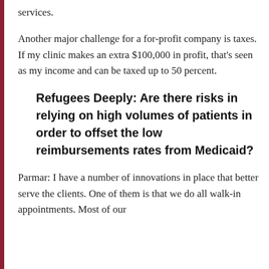services.
Another major challenge for a for-profit company is taxes. If my clinic makes an extra $100,000 in profit, that's seen as my income and can be taxed up to 50 percent.
Refugees Deeply: Are there risks in relying on high volumes of patients in order to offset the low reimbursements rates from Medicaid?
Parmar: I have a number of innovations in place that better serve the clients. One of them is that we do all walk-in appointments. Most of our